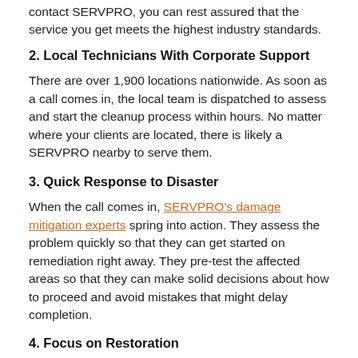contact SERVPRO, you can rest assured that the service you get meets the highest industry standards.
2. Local Technicians With Corporate Support
There are over 1,900 locations nationwide. As soon as a call comes in, the local team is dispatched to assess and start the cleanup process within hours. No matter where your clients are located, there is likely a SERVPRO nearby to serve them.
3. Quick Response to Disaster
When the call comes in, SERVPRO’s damage mitigation experts spring into action. They assess the problem quickly so that they can get started on remediation right away. They pre-test the affected areas so that they can make solid decisions about how to proceed and avoid mistakes that might delay completion.
4. Focus on Restoration
Any insurance adjuster knows that it is less costly to repair a structure that’s already there than to replace it with new materials. The technicians who serve your clients understand this, too. Their focus is going to be on how they